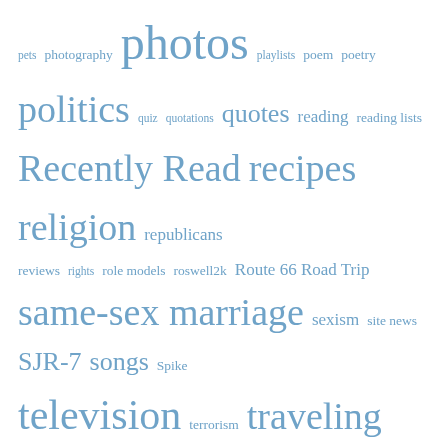pets photography photos playlists poem poetry politics quiz quotations quotes reading reading lists Recently Read recipes religion republicans reviews rights role models roswell2k Route 66 Road Trip same-sex marriage sexism site news SJR-7 songs Spike television terrorism traveling True Stories verse video volkswagen vw web design web development weekend update women's issues women's rights work writing Xmas
POST UPDATES
Email Address *
[Figure (other): reCAPTCHA badge with Privacy - Terms text]
Subscribe